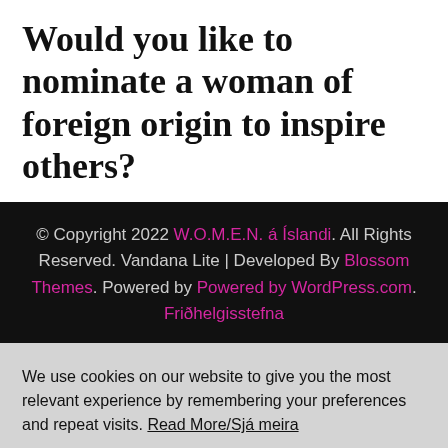Would you like to nominate a woman of foreign origin to inspire others?
© Copyright 2022 W.O.M.E.N. á Íslandi. All Rights Reserved. Vandana Lite | Developed By Blossom Themes. Powered by Powered by WordPress.com. Friðhelgisstefna
We use cookies on our website to give you the most relevant experience by remembering your preferences and repeat visits. Read More/Sjá meira
Cookie settings | ÉG SAMÞYKKI